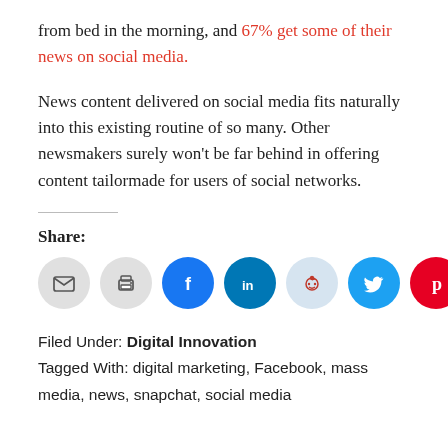from bed in the morning, and 67% get some of their news on social media.
News content delivered on social media fits naturally into this existing routine of so many. Other newsmakers surely won't be far behind in offering content tailormade for users of social networks.
Share:
[Figure (infographic): Row of seven circular social media share icons: email (gray), print (gray), Facebook (blue), LinkedIn (dark blue), Reddit (light blue), Twitter (cyan), Pinterest (red)]
Filed Under: Digital Innovation
Tagged With: digital marketing, Facebook, mass media, news, snapchat, social media